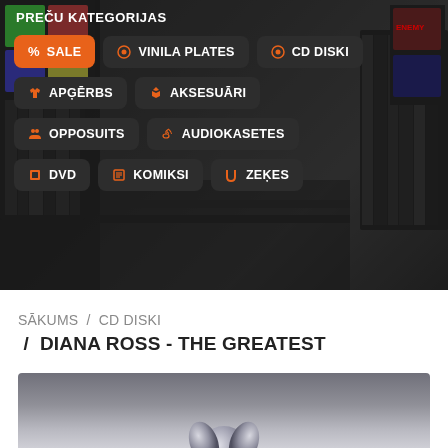PREČU KATEGORIJAS
% SALE
VINILA PLATES
CD DISKI
APĢĒRBS
AKSESUĀRI
OPPOSUITS
AUDIOKASETES
DVD
KOMIKSI
ZEĶES
SĀKUMS / CD DISKI / DIANA ROSS - THE GREATEST
[Figure (photo): Product image for Diana Ross - The Greatest CD, showing a silver/chrome reflective surface]